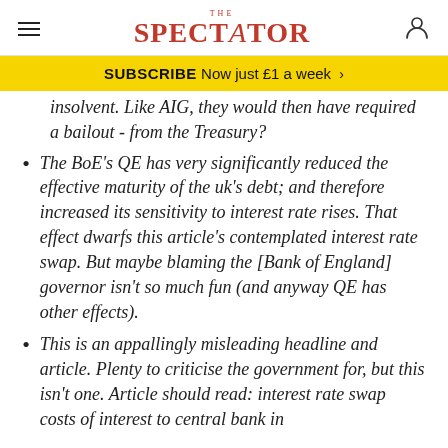THE SPECTATOR
SUBSCRIBE Now just £1 a week >
insolvent. Like AIG, they would then have required a bailout - from the Treasury?
The BoE's QE has very significantly reduced the effective maturity of the uk's debt; and therefore increased its sensitivity to interest rate rises. That effect dwarfs this article's contemplated interest rate swap. But maybe blaming the [Bank of England] governor isn't so much fun (and anyway QE has other effects).
This is an appallingly misleading headline and article. Plenty to criticise the government for, but this isn't one. Article should read: interest rate swap costs of interest to central bank in...